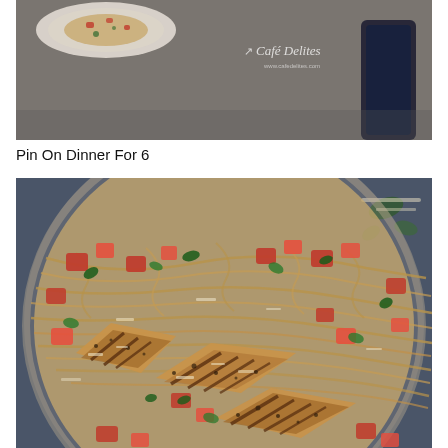[Figure (photo): Top portion of a pasta dish with chicken in a pan, with a 'Cafe Delites' watermark visible in the upper right corner. Gray/dark background with a plate visible at top.]
Pin On Dinner For 6
[Figure (photo): Close-up overhead shot of a large pan filled with spaghetti pasta, grilled seasoned chicken pieces, diced red tomatoes, fresh basil/herbs, and grated parmesan cheese on a dark blue-gray background.]